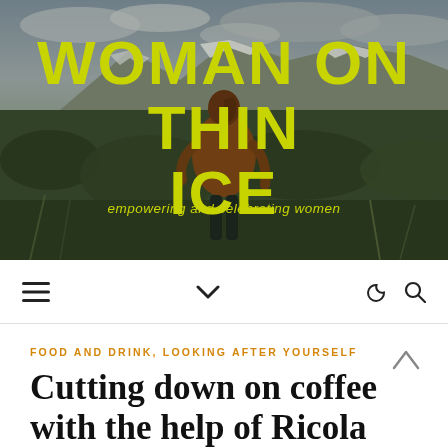[Figure (photo): Woman with auburn hair in a ponytail wearing a rust/orange knitted sweater, viewed from behind, standing in a vast open moorland with mountains and snow-capped peaks in the background under a cloudy sky. Overlaid with blog title text.]
WOMAN ON THIN ICE
empowering and celebrating women
[Figure (infographic): Navigation bar with hamburger menu icon on left, chevron/dropdown icon in center, moon/night mode icon and search icon on right]
FOOD AND DRINK, LOOKING AFTER YOURSELF
Cutting down on coffee with the help of Ricola